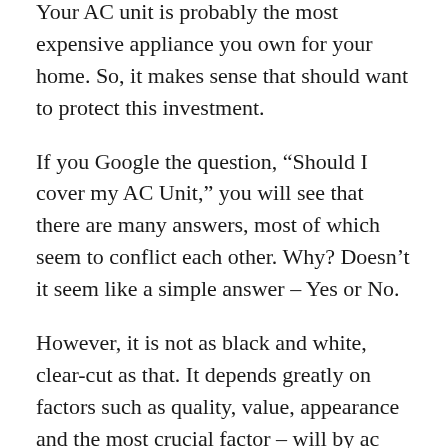Your AC unit is probably the most expensive appliance you own for your home. So, it makes sense that should want to protect this investment.
If you Google the question, “Should I cover my AC Unit,” you will see that there are many answers, most of which seem to conflict each other. Why? Doesn’t it seem like a simple answer – Yes or No.
However, it is not as black and white, clear-cut as that. It depends greatly on factors such as quality, value, appearance and the most crucial factor – will by ac unit cover increase or decrease the life of the most expensive house appliance.
In this article, I am focusing on winter air conditioner covers not summer air conditioner covers. Winter ac covers are meant to be used on ac units that are NOT in use.